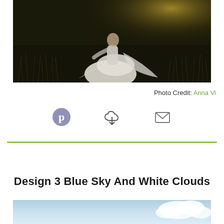[Figure (photo): Outdoor photo of a bride in a white flowing gown standing in a field/meadow with golden backlighting and dark green grass background]
Photo Credit: Anna Vi
[Figure (infographic): Three social sharing icons: Pinterest circle icon, cloud download icon, and envelope/email icon]
[Figure (other): Green horizontal divider line]
Design 3 Blue Sky And White Clouds
[Figure (photo): Partial view of a blue sky with white clouds photo, cropped at bottom of page]